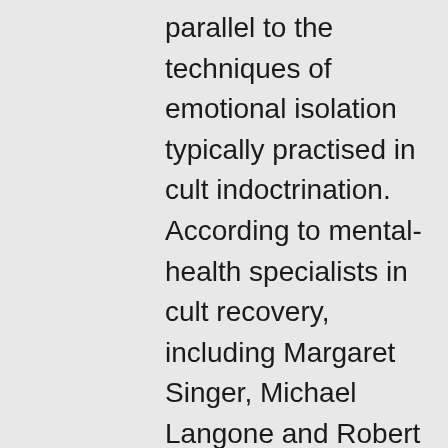parallel to the techniques of emotional isolation typically practised in cult indoctrination. According to mental-health specialists in cult recovery, including Margaret Singer, Michael Langone and Robert Lifton, cult indoctrination involves new cult members being brought to distrust all non-cult members. This provides a social buffer against any attempts to extract the indoctrinated person from the cult. The echo chamber doesn't need